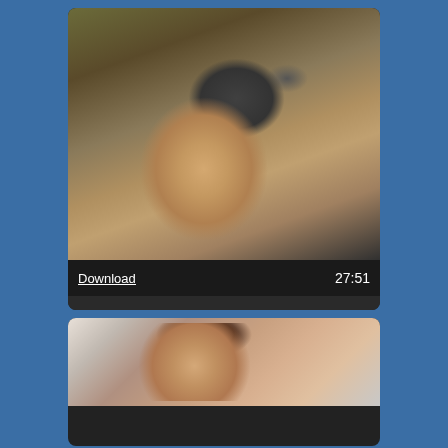[Figure (screenshot): Video thumbnail showing a person, displayed upside down, with a dark overlaid info bar showing Download link and duration 27:51, and tags Arab, Doggystyle, French, Hardcore]
[Figure (screenshot): Video thumbnail showing a woman with dark hair in a room, partial second card visible at bottom]